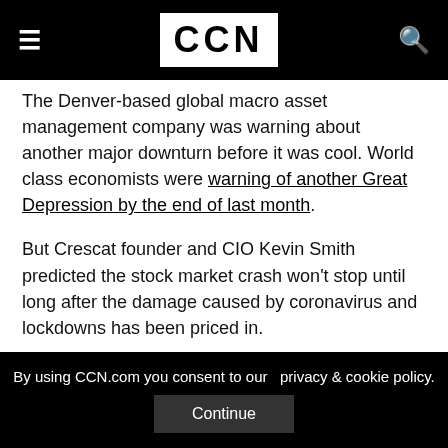CCN
The Denver-based global macro asset management company was warning about another major downturn before it was cool. World class economists were warning of another Great Depression by the end of last month.
But Crescat founder and CIO Kevin Smith predicted the stock market crash won't stop until long after the damage caused by coronavirus and lockdowns has been priced in.
By using CCN.com you consent to our privacy & cookie policy. Continue